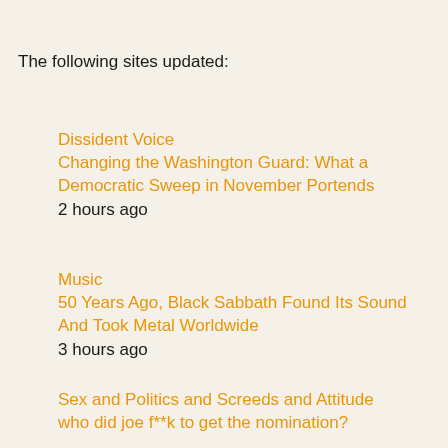The following sites updated:
Dissident Voice
Changing the Washington Guard: What a Democratic Sweep in November Portends
2 hours ago
Music
50 Years Ago, Black Sabbath Found Its Sound And Took Metal Worldwide
3 hours ago
Sex and Politics and Screeds and Attitude
who did joe f**k to get the nomination?